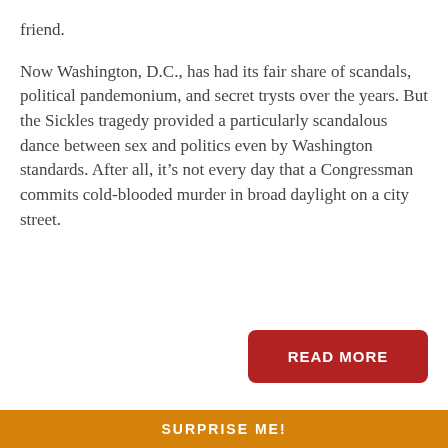friend.
Now Washington, D.C., has had its fair share of scandals, political pandemonium, and secret trysts over the years. But the Sickles tragedy provided a particularly scandalous dance between sex and politics even by Washington standards. After all, it’s not every day that a Congressman commits cold-blooded murder in broad daylight on a city street.
[Figure (other): Red 'READ MORE' button]
SURPRISE ME!